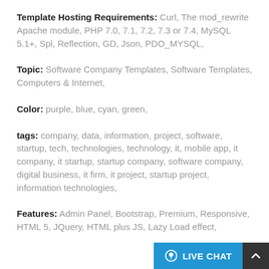Template Hosting Requirements: Curl, The mod_rewrite Apache module, PHP 7.0, 7.1, 7.2, 7.3 or 7.4, MySQL 5.1+, Spl, Reflection, GD, Json, PDO_MYSQL,
Topic: Software Company Templates, Software Templates, Computers & Internet,
Color: purple, blue, cyan, green,
tags: company, data, information, project, software, startup, tech, technologies, technology, it, mobile app, it company, it startup, startup company, software company, digital business, it firm, it project, startup project, information technologies,
Features: Admin Panel, Bootstrap, Premium, Responsive, HTML 5, JQuery, HTML plus JS, Lazy Load effect,